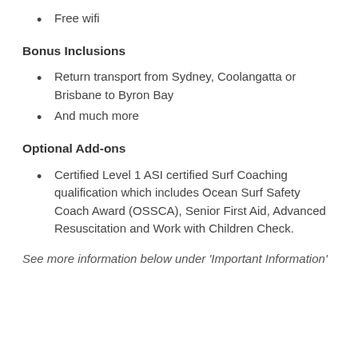Free wifi
Bonus Inclusions
Return transport from Sydney, Coolangatta or Brisbane to Byron Bay
And much more
Optional Add-ons
Certified Level 1 ASI certified Surf Coaching qualification which includes Ocean Surf Safety Coach Award (OSSCA), Senior First Aid, Advanced Resuscitation and Work with Children Check.
See more information below under ‘Important Information’